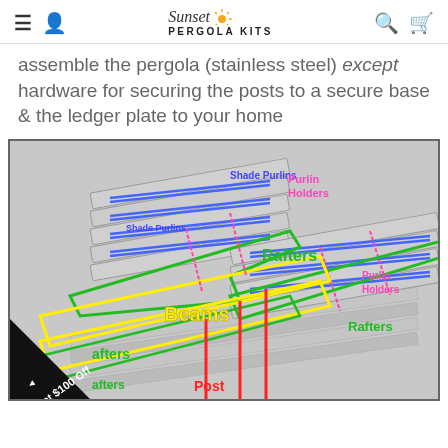Sunset Pergola Kits
assemble the pergola (stainless steel) except hardware for securing the posts to a secure base & the ledger plate to your home
[Figure (illustration): Labeled 3D diagram of a pergola structure showing components: Shade Purlins (labeled in blue), Purlin Holders (labeled in pink/magenta), Rafters (labeled in green), Beams (labeled in yellow), Post (labeled in red). The structure is shown in a 3D perspective with colored outlines highlighting each component.]